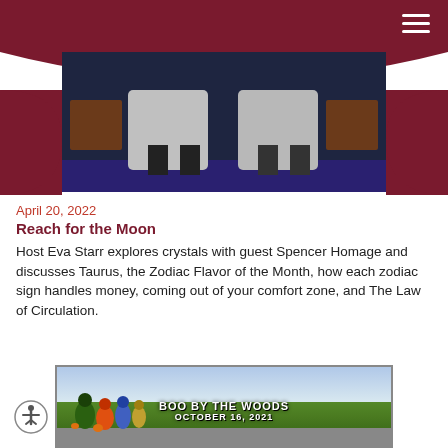[Figure (photo): TV studio scene showing two people seated, with side tables and a blue background. Dark maroon curved overlays on the sides and top.]
April 20, 2022
Reach for the Moon
Host Eva Starr explores crystals with guest Spencer Homage and discusses Taurus, the Zodiac Flavor of the Month, how each zodiac sign handles money, coming out of your comfort zone, and The Law of Circulation.
[Figure (photo): Outdoor Halloween event photo with people trick-or-treating along a road lined with trees. Text overlay reads 'BOO BY THE WOODS' and 'OCTOBER 16, 2021' in white stylized font with orange accents.]